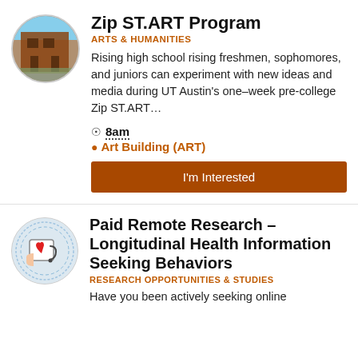[Figure (photo): Circular avatar image of a brick building (art building)]
Zip ST.ART Program
ARTS & HUMANITIES
Rising high school rising freshmen, sophomores, and juniors can experiment with new ideas and media during UT Austin's one–week pre-college Zip ST.ART...
8am
Art Building (ART)
I'm Interested
[Figure (illustration): Circular avatar with medical/health illustration: hands holding a tablet with a heart, stethoscope, surrounded by data/code ring]
Paid Remote Research – Longitudinal Health Information Seeking Behaviors
RESEARCH OPPORTUNITIES & STUDIES
Have you been actively seeking online